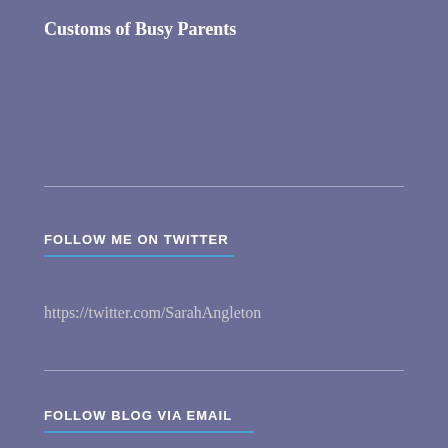Customs of Busy Parents
FOLLOW ME ON TWITTER
https://twitter.com/SarahAngleton
FOLLOW BLOG VIA EMAIL